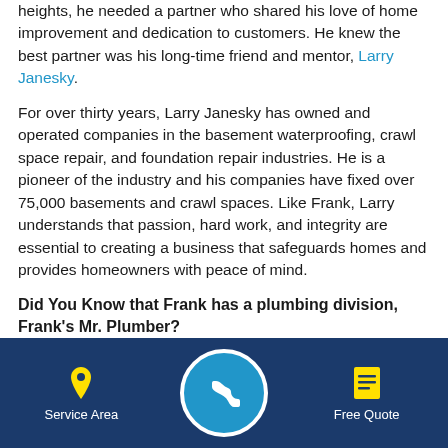heights, he needed a partner who shared his love of home improvement and dedication to customers. He knew the best partner was his long-time friend and mentor, Larry Janesky.
For over thirty years, Larry Janesky has owned and operated companies in the basement waterproofing, crawl space repair, and foundation repair industries. He is a pioneer of the industry and his companies have fixed over 75,000 basements and crawl spaces. Like Frank, Larry understands that passion, hard work, and integrity are essential to creating a business that safeguards homes and provides homeowners with peace of mind.
Did You Know that Frank has a plumbing division, Frank's Mr. Plumber?
Frank's Mr. Plumber is an... Business Bureau...
Service Area | Phone | Free Quote